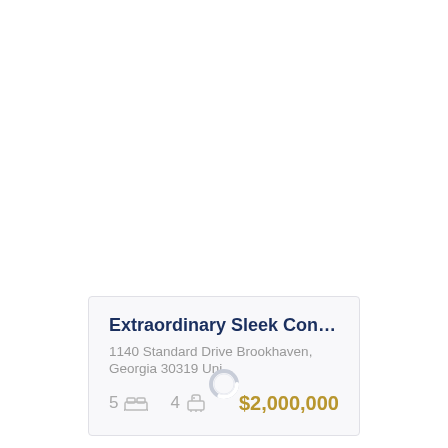Extraordinary Sleek Contemporary New Constr...
1140 Standard Drive Brookhaven, Georgia 30319 Uni...
5 beds  4 baths  $2,000,000
[Figure (other): Loading spinner ring at bottom of page]